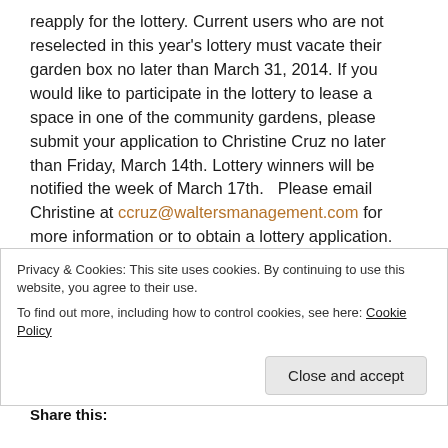reapply for the lottery. Current users who are not reselected in this year's lottery must vacate their garden box no later than March 31, 2014. If you would like to participate in the lottery to lease a space in one of the community gardens, please submit your application to Christine Cruz no later than Friday, March 14th. Lottery winners will be notified the week of March 17th.   Please email Christine at ccruz@waltersmanagement.com for more information or to obtain a lottery application.
BunnyPalooza! Save the Date: Saturday, April 12th
This year's BunnyPalooza will be held on Saturday, April 12th. The event will include…
Privacy & Cookies: This site uses cookies. By continuing to use this website, you agree to their use.
To find out more, including how to control cookies, see here: Cookie Policy
Close and accept
Share this: